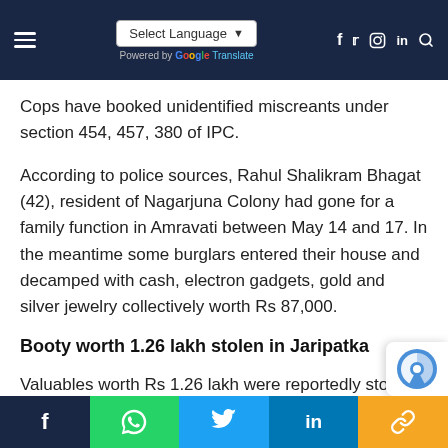Select Language ▾ | Powered by Google Translate | [nav icons: facebook, twitter, instagram, linkedin, search]
Cops have booked unidentified miscreants under section 454, 457, 380 of IPC.
According to police sources, Rahul Shalikram Bhagat (42), resident of Nagarjuna Colony had gone for a family function in Amravati between May 14 and 17. In the meantime some burglars entered their house and decamped with cash, electron gadgets, gold and silver jewelry collectively worth Rs 87,000.
Booty worth 1.26 lakh stolen in Jaripatka
Valuables worth Rs 1.26 lakh were reportedly stolen
[Share bar: facebook, whatsapp, twitter, linkedin, link]